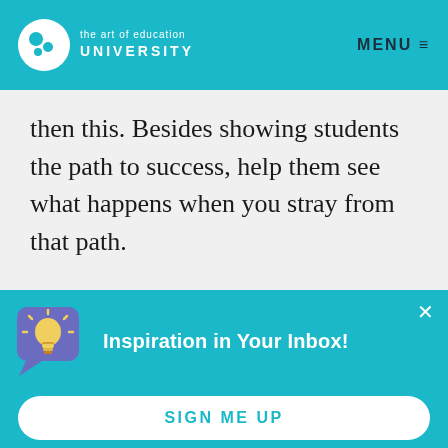the art of education UNIVERSITY | MENU
then this. Besides showing students the path to success, help them see what happens when you stray from that path.
Inspiration in Your Inbox!
Join the weekly email newsletter to get the newest articles, tips, advice, and resources for art educators!
SIGN ME UP